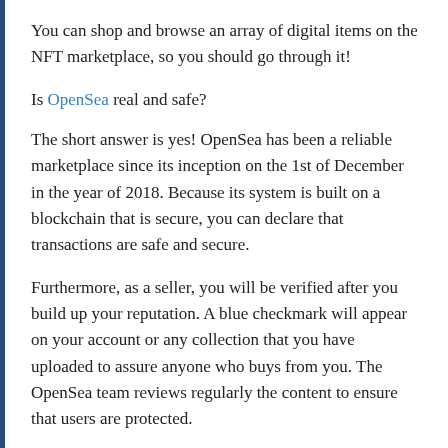You can shop and browse an array of digital items on the NFT marketplace, so you should go through it!
Is OpenSea real and safe?
The short answer is yes! OpenSea has been a reliable marketplace since its inception on the 1st of December in the year of 2018. Because its system is built on a blockchain that is secure, you can declare that transactions are safe and secure.
Furthermore, as a seller, you will be verified after you build up your reputation. A blue checkmark will appear on your account or any collection that you have uploaded to assure anyone who buys from you. The OpenSea team reviews regularly the content to ensure that users are protected.
How do I earn royalties on OpenSea?